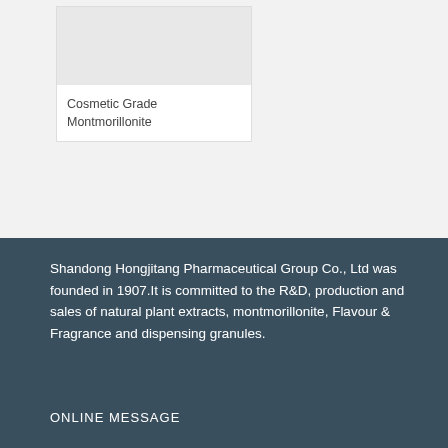[Figure (photo): White card with image placeholder for Cosmetic Grade Montmorillonite product]
Cosmetic Grade Montmorillonite
Shandong Hongjitang Pharmaceutical Group Co., Ltd was founded in 1907.It is committed to the R&D, production and sales of natural plant extracts, montmorillonite, Flavour & Fragrance and dispensing granules.
ONLINE MESSAGE